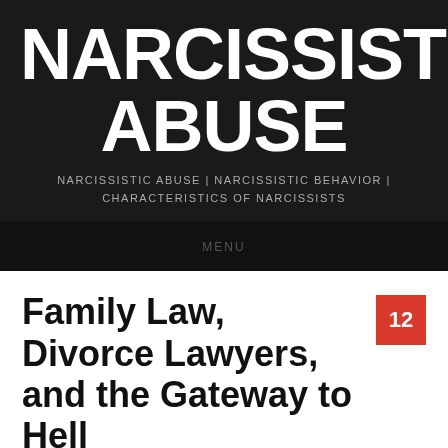NARCISSISTIC ABUSE
NARCISSISTIC ABUSE | NARCISSISTIC BEHAVIOR | CHARACTERISTICS OF NARCISSISTS
MENU
Family Law, Divorce Lawyers, and the Gateway to Hell
Posted on January 18, 2014 by Ann Bradley